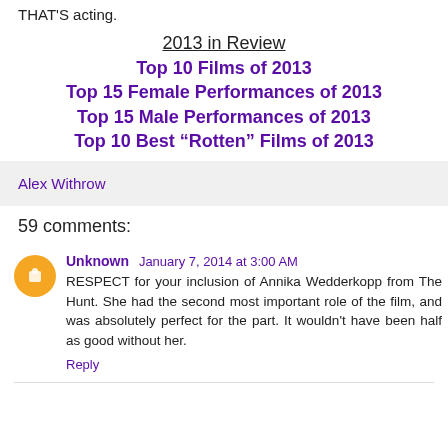THAT'S acting.
2013 in Review
Top 10 Films of 2013
Top 15 Female Performances of 2013
Top 15 Male Performances of 2013
Top 10 Best “Rotten” Films of 2013
Alex Withrow
59 comments:
Unknown January 7, 2014 at 3:00 AM
RESPECT for your inclusion of Annika Wedderkopp from The Hunt. She had the second most important role of the film, and was absolutely perfect for the part. It wouldn’t have been half as good without her.
Reply